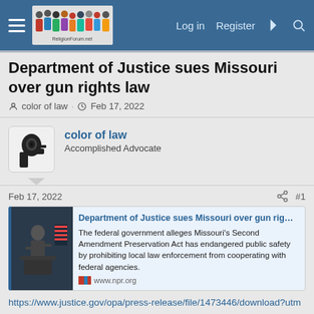Log in  Register
Department of Justice sues Missouri over gun rights law
color of law · Feb 17, 2022
color of law
Accomplished Advocate
Feb 17, 2022  #1
[Figure (screenshot): Link preview card for NPR article: 'Department of Justice sues Missouri over gun rig...' with photo of a man at a podium and description text about Second Amendment Preservation Act. Source: www.npr.org]
https://www.justice.gov/opa/press-release/file/1473446/download?utm_medium=email&utm_source=govdelivery